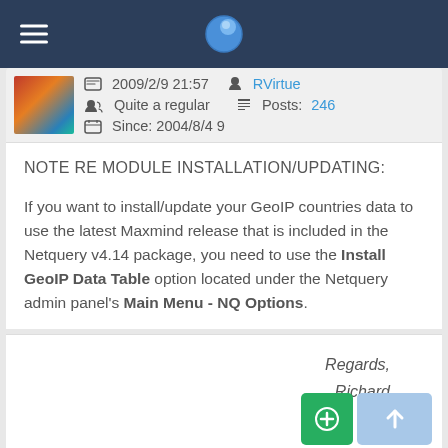Navigation bar with globe logo
2009/2/9 21:57  RVirtue  Quite a regular  Posts: 246  Since: 2004/8/4 9
NOTE RE MODULE INSTALLATION/UPDATING:
If you want to install/update your GeoIP countries data to use the latest Maxmind release that is included in the Netquery v4.14 package, you need to use the Install GeoIP Data Table option located under the Netquery admin panel's Main Menu - NQ Options.
Regards,
Richard